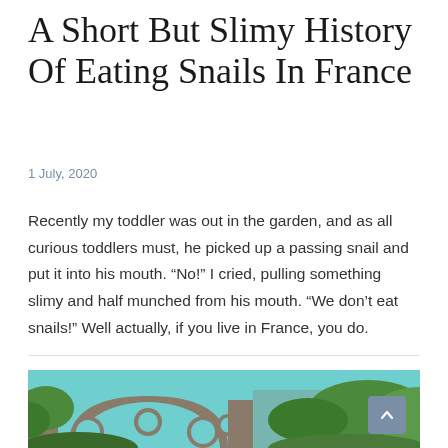A Short But Slimy History Of Eating Snails In France
1 July, 2020
Recently my toddler was out in the garden, and as all curious toddlers must, he picked up a passing snail and put it into his mouth. “No!” I cried, pulling something slimy and half munched from his mouth. “We don’t eat snails!” Well actually, if you live in France, you do.
[Figure (photo): Partial view of a stone arch bridge or ruin with circular arch openings, set against a bright teal/turquoise sky with lush green foliage.]